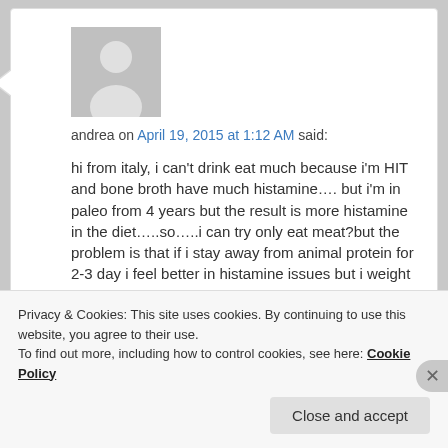[Figure (illustration): Grey avatar placeholder with person silhouette]
andrea on April 19, 2015 at 1:12 AM said:
hi from italy, i can't drink eat much because i'm HIT and bone broth have much histamine…. but i'm in paleo from 4 years but the result is more histamine in the diet…..so…..i can try only eat meat?but the problem is that if i stay away from animal protein for 2-3 day i feel better in histamine issues but i weight up immediatly and have some problem with intestine…..no way! you inspire me
Privacy & Cookies: This site uses cookies. By continuing to use this website, you agree to their use.
To find out more, including how to control cookies, see here: Cookie Policy